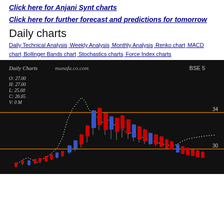Click here for Anjani Synt charts
Click here for further forecast and predictions for tomorrow
Daily charts
Daily Technical Analysis  Weekly Analysis  Monthly Analysis  Renko chart  MACD chart  Bollinger Bands chart  Stochastics charts  Force Index charts
[Figure (continuous-plot): Daily candlestick chart from munafa.co.com showing BSE stock price with red and blue candles, white dotted Bollinger Bands/price envelope, and orange horizontal reference lines at price levels 34 and 30. OHLCV data shown: O:27.00 H:27.00 L:25.60 C:26.65 V:0 M]